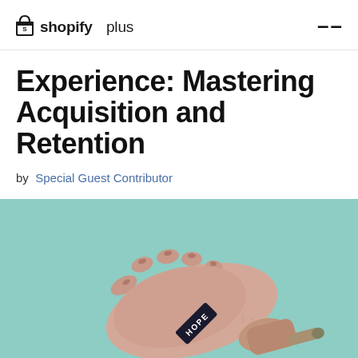shopify plus
Experience: Mastering Acquisition and Retention
by Special Guest Contributor
[Figure (photo): A prosthetic hand with a dark label reading 'HOPE' on the wrist, placed on a mint/teal green background.]